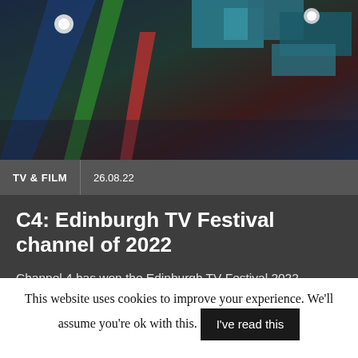[Figure (photo): Abstract colorful geometric shapes and blocks — teal, green, red, blue — likely award trophies or sculpture pieces lit against a dark background]
TV & FILM   26.08.22
C4: Edinburgh TV Festival channel of 2022
Channel 4 has won the Edinburgh TV Festival 2022 Channel of the Year award. The award comes after the broadcaster delivered record-breaking financial results and also celebrated a record 13 RTS Awards and 44 BAFTA nominations. It >>>
This website uses cookies to improve your experience. We'll assume you're ok with this.   I've read this